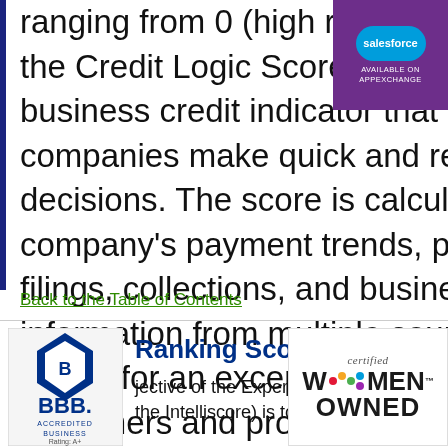ranging from 0 (high risk) to 100 (low risk), the Credit Logic Score is a predictive business credit indicator that helps companies make quick and reliable credit decisions. The score is calculated using the company's payment trends, public record filings, collections, and business background information from multiple sources. This allows for an exceptional overview of customers and prospects.
[Figure (logo): Salesforce AppExchange badge - purple background with Salesforce cloud logo and text 'AVAILABLE ON APPEXCHANGE']
Back to the Table of Contents
[Figure (logo): BBB Accredited Business logo with blue diamond/flame icon, BBB text, 'ACCREDITED BUSINESS' and 'Rating: A+']
Ranking Score
jective of the Experian Cr... the Intelliscore) is to pre...
[Figure (logo): Certified Women Owned logo with colorful dots spelling W(dots)MEN OWNED]